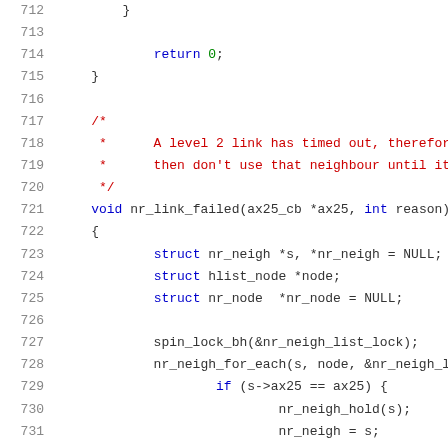Source code snippet lines 712-733, C programming language, showing nr_link_failed function definition with struct declarations and spin_lock operations